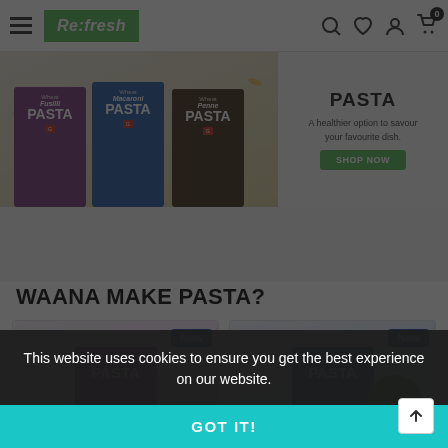Re:fresh — navigation header with hamburger menu, logo, search, wishlist, account, cart icons
[Figure (photo): Banner showing three pasta product boxes (Wheat Fusilli Pasta, Wheat Macaroni Pasta, Wheat Penne Pasta) on left, and text 'PASTA – A healthier option to savour your favourite dish.' with green SHOP NOW button on right]
WAANA MAKE PASTA?
[Figure (photo): Product card showing Wheat Fusilli Pasta box in purple/magenta packaging with 'New' badge]
[Figure (photo): Product card showing Wheat Macaroni Pasta box in blue packaging with 'New' badge and green circle]
This website uses cookies to ensure you get the best experience on our website.
GOT IT!